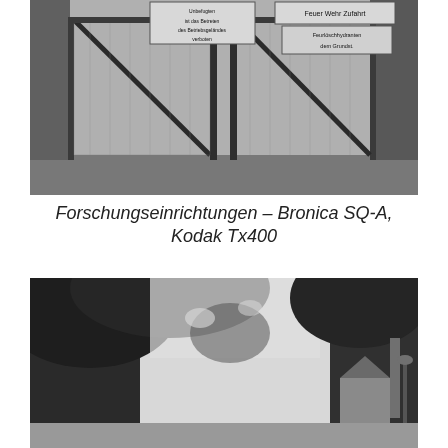[Figure (photo): Black and white photograph of a locked chain-link gate with signs in German, including 'Feuer Wehr Zufahrt' and other warning signs. Overgrown vegetation visible behind the gate.]
Forschungseinrichtungen – Bronica SQ-A, Kodak Tx400
[Figure (photo): Black and white photograph showing trees with bright sky filtering through foliage, and buildings including what appears to be a chimney or smokestack visible in the background.]